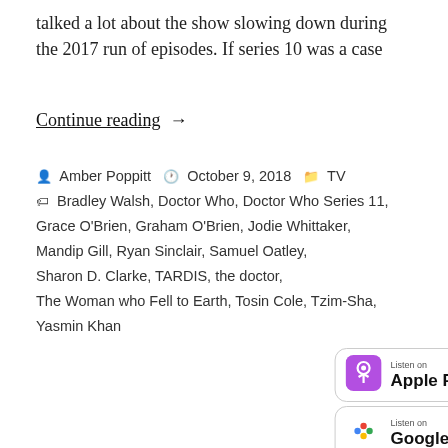talked a lot about the show slowing down during the 2017 run of episodes. If series 10 was a case
Continue reading  →
Amber Poppitt  October 9, 2018  TV
Bradley Walsh, Doctor Who, Doctor Who Series 11, Grace O'Brien, Graham O'Brien, Jodie Whittaker, Mandip Gill, Ryan Sinclair, Samuel Oatley, Sharon D. Clarke, TARDIS, the doctor, The Woman who Fell to Earth, Tosin Cole, Tzim-Sha, Yasmin Khan
[Figure (logo): Listen on Apple Podcasts badge]
[Figure (logo): Listen on Google Podcasts badge]